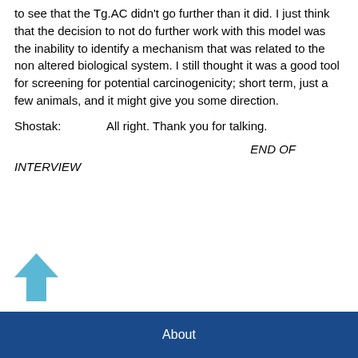to see that the Tg.AC didn't go further than it did. I just think that the decision to not do further work with this model was the inability to identify a mechanism that was related to the non altered biological system. I still thought it was a good tool for screening for potential carcinogenicity; short term, just a few animals, and it might give you some direction.
Shostak:    All right. Thank you for talking.
END OF INTERVIEW
[Figure (illustration): Blue upward-pointing arrow icon]
About